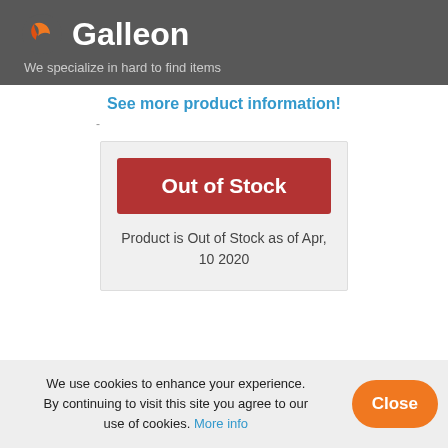Galleon — We specialize in hard to find items
See more product information!
-
Out of Stock
Product is Out of Stock as of Apr, 10 2020
We use cookies to enhance your experience. By continuing to visit this site you agree to our use of cookies. More info